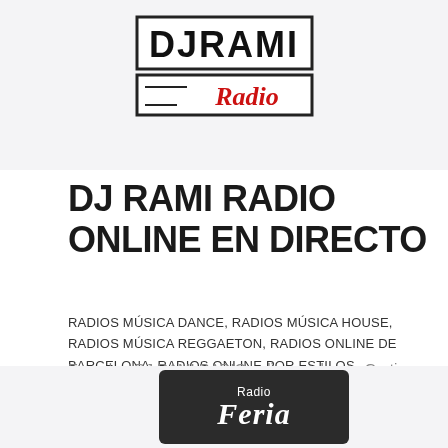[Figure (logo): DJ RAMI Radio logo — rectangular border with 'DJRAMI' in large text and 'Radio' in red handwritten script below]
DJ RAMI RADIO ONLINE EN DIRECTO
RADIOS MÚSICA DANCE, RADIOS MÚSICA HOUSE, RADIOS MÚSICA REGGAETON, RADIOS ONLINE DE BARCELONA, RADIOS ONLINE POR ESTILOS MUSICALES, RADIOS POP
Escuchar DJ RAMI RADIO online en directo Gratis
0 Comentarios  /  enero 1, 1970
[Figure (logo): Radio Feria logo on dark/black background with 'Radio' in small text and 'Feria' in large italic white text]